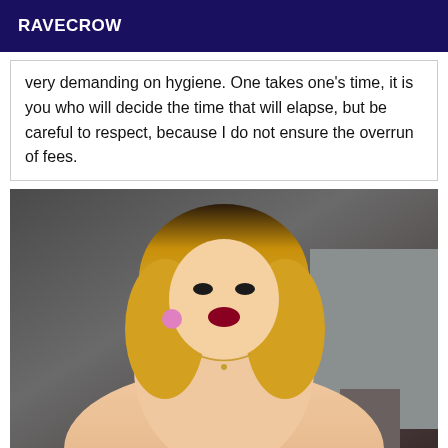RAVECROW
very demanding on hygiene. One takes one's time, it is you who will decide the time that will elapse, but be careful to respect, because I do not ensure the overrun of fees.
[Figure (photo): A woman with blonde hair and dramatic makeup, wearing pink earrings and a necklace, partially unclothed, posed in what appears to be a kitchen/indoor setting.]